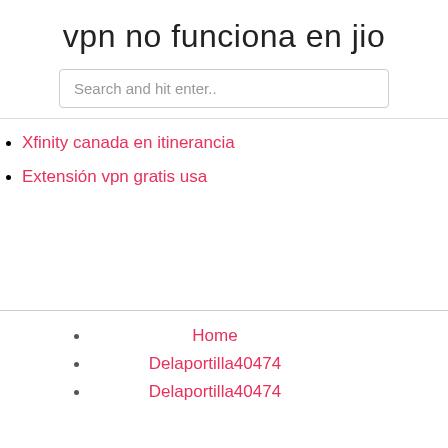vpn no funciona en jio
Search and hit enter..
Xfinity canada en itinerancia
Extensión vpn gratis usa
Home
Delaportilla40474
Delaportilla40474